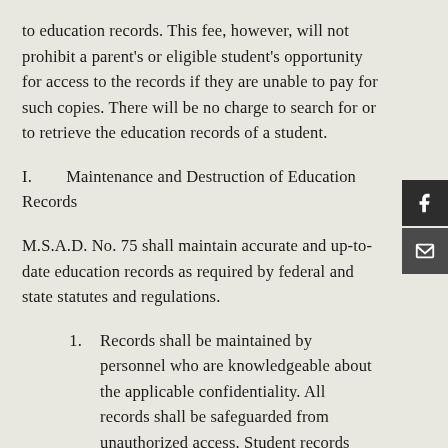to education records.  This fee, however, will not prohibit a parent's or eligible student's opportunity for access to the records if they are unable to pay for such copies.  There will be no charge to search for or to retrieve the education records of a student.
I.       Maintenance and Destruction of Education Records
M.S.A.D. No. 75 shall maintain accurate and up-to-date education records as required by federal and state statutes and regulations.
1.      Records shall be maintained by personnel who are knowledgeable about the applicable confidentiality. All records shall be safeguarded from unauthorized access. Student records must be kept in fireproof storage at the school or a duplicate set kept